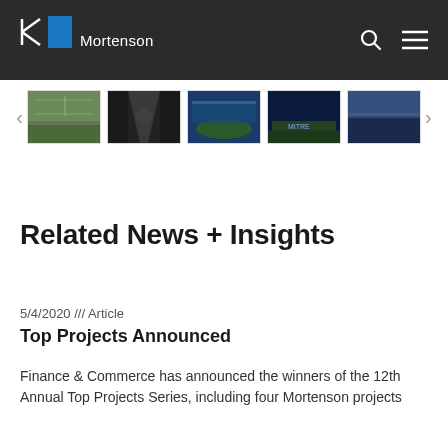Mortenson
[Figure (photo): Carousel of 5 stadium/venue thumbnail images with left and right navigation arrows]
Related News + Insights
5/4/2020 /// Article
Top Projects Announced
Finance & Commerce has announced the winners of the 12th Annual Top Projects Series, including four Mortenson projects